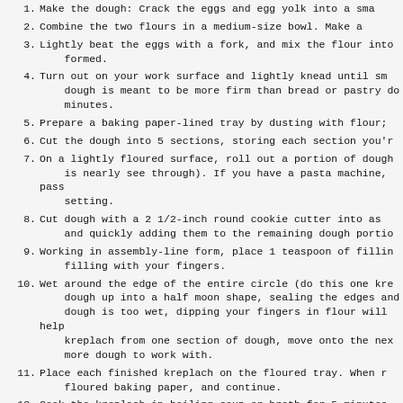1. Make the dough: Crack the eggs and egg yolk into a sma
2. Combine the two flours in a medium-size bowl. Make a
3. Lightly beat the eggs with a fork, and mix the flour into formed.
4. Turn out on your work surface and lightly knead until sm dough is meant to be more firm than bread or pastry do minutes.
5. Prepare a baking paper-lined tray by dusting with flour;
6. Cut the dough into 5 sections, storing each section you'r
7. On a lightly floured surface, roll out a portion of dough is nearly see through). If you have a pasta machine, pass setting.
8. Cut dough with a 2 1/2-inch round cookie cutter into as and quickly adding them to the remaining dough portio
9. Working in assembly-line form, place 1 teaspoon of fillin filling with your fingers.
10. Wet around the edge of the entire circle (do this one kre dough up into a half moon shape, sealing the edges and dough is too wet, dipping your fingers in flour will help kreplach from one section of dough, move onto the nex more dough to work with.
11. Place each finished kreplach on the floured tray. When r floured baking paper, and continue.
12. Cook the kreplach in boiling soup or broth for 5 minutes